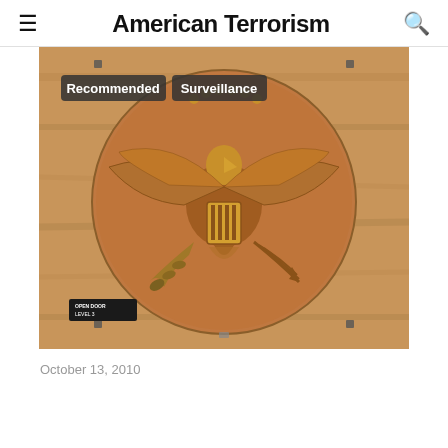American Terrorism
[Figure (photo): Wooden carved US Great Seal (eagle with shield, olive branch, and arrows) on a circular wooden plaque mounted on a wood-paneled wall. Overlaid tags read 'Recommended' and 'Surveillance'. A small sign at the bottom left reads 'OPEN DOOR LEVEL 3'.]
October 13, 2010